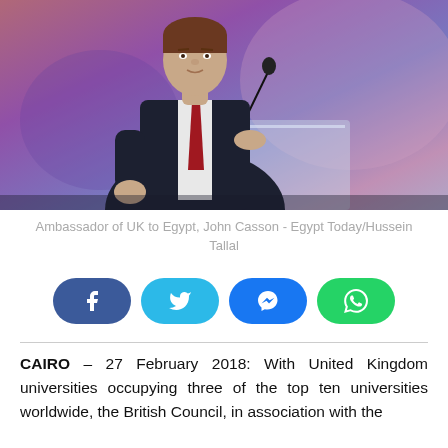[Figure (photo): A man in a dark suit with a red tie speaking at a podium, with a purple/pink stage background. Ambassador of UK to Egypt, John Casson.]
Ambassador of UK to Egypt, John Casson - Egypt Today/Hussein Tallal
[Figure (infographic): Social media sharing buttons: Facebook, Twitter, Messenger, WhatsApp]
CAIRO – 27 February 2018: With United Kingdom universities occupying three of the top ten universities worldwide, the British Council, in association with the